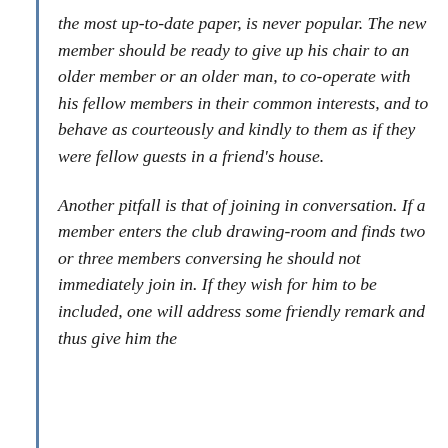the most up-to-date paper, is never popular. The new member should be ready to give up his chair to an older member or an older man, to co-operate with his fellow members in their common interests, and to behave as courteously and kindly to them as if they were fellow guests in a friend's house.
Another pitfall is that of joining in conversation. If a member enters the club drawing-room and finds two or three members conversing he should not immediately join in. If they wish for him to be included, one will address some friendly remark and thus give him the